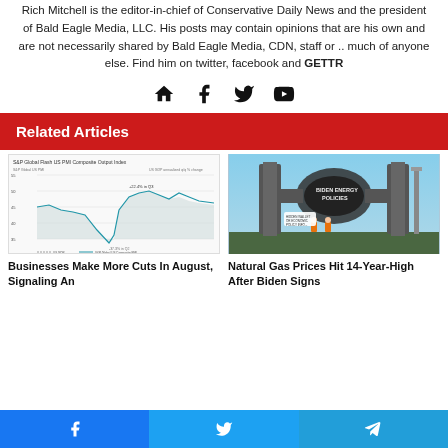Rich Mitchell is the editor-in-chief of Conservative Daily News and the president of Bald Eagle Media, LLC. His posts may contain opinions that are his own and are not necessarily shared by Bald Eagle Media, CDN, staff or .. much of anyone else. Find him on twitter, facebook and GETTR
[Figure (infographic): Social media icons: home, facebook, twitter, youtube]
Related Articles
[Figure (continuous-plot): S&P Global Flash US PMI Composite Output Index line chart]
[Figure (illustration): Political cartoon of Biden Energy Policies knotted pipeline]
Businesses Make More Cuts In August, Signaling An
Natural Gas Prices Hit 14-Year-High After Biden Signs
[Figure (infographic): Share bar with Facebook, Twitter, Telegram buttons]